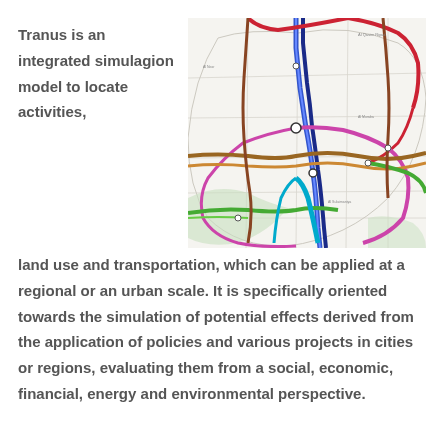Tranus is an integrated simulagion model to locate activities,
[Figure (map): Colorful urban/transportation network map showing road and transit routes in a city, with multiple colored lines (blue, red, pink, green, brown, purple, cyan) overlaid on a light street map background.]
land use and transportation, which can be applied at a regional or an urban scale. It is specifically oriented towards the simulation of potential effects derived from the application of policies and various projects in cities or regions, evaluating them from a social, economic, financial, energy and environmental perspective.